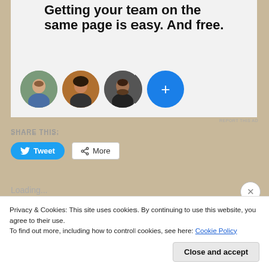[Figure (screenshot): Advertisement banner with text 'Getting your team on the same page is easy. And free.' and circular profile avatars plus a blue plus button]
REPORT THIS AD
SHARE THIS:
[Figure (screenshot): Tweet button (blue, rounded) and More button (outlined)]
Loading...
Privacy & Cookies: This site uses cookies. By continuing to use this website, you agree to their use.
To find out more, including how to control cookies, see here: Cookie Policy
Close and accept